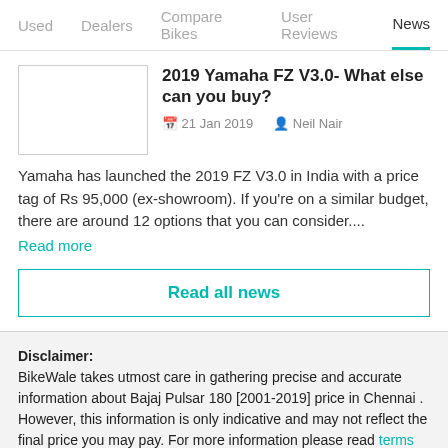Used | Dealers | Compare Bikes | User Reviews | News
2019 Yamaha FZ V3.0- What else can you buy?
21 Jan 2019   Neil Nair
Yamaha has launched the 2019 FZ V3.0 in India with a price tag of Rs 95,000 (ex-showroom). If you're on a similar budget, there are around 12 options that you can consider....
Read more
Read all news
Disclaimer: BikeWale takes utmost care in gathering precise and accurate information about Bajaj Pulsar 180 [2001-2019] price in Chennai . However, this information is only indicative and may not reflect the final price you may pay. For more information please read terms and conditions, visitor agreement and privacy policy.
You are here: